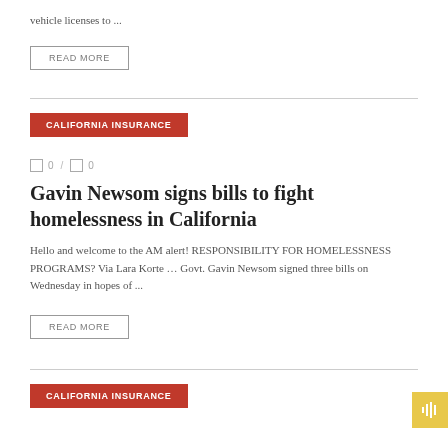vehicle licenses to ...
READ MORE
CALIFORNIA INSURANCE
0 / 0
Gavin Newsom signs bills to fight homelessness in California
Hello and welcome to the AM alert! RESPONSIBILITY FOR HOMELESSNESS PROGRAMS? Via Lara Korte … Govt. Gavin Newsom signed three bills on Wednesday in hopes of ...
READ MORE
CALIFORNIA INSURANCE